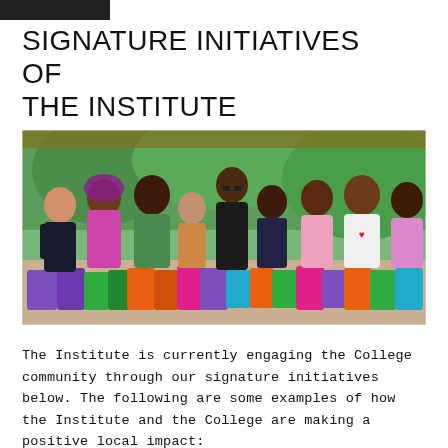SIGNATURE INITIATIVES OF THE INSTITUTE
[Figure (photo): Group of diverse students and community members standing together outdoors, holding colorful backpacks and supplies, smiling at the camera under a shaded area with green trees in the background.]
The Institute is currently engaging the College community through our signature initiatives below. The following are some examples of how the Institute and the College are making a positive local impact: